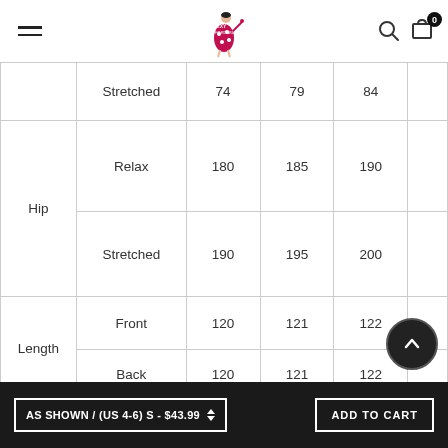Sexy Affordable - navigation header with logo, menu, search, and cart
|  |  | S | M | L |
| --- | --- | --- | --- | --- |
|  | Stretched | 74 | 79 | 84 |
| Hip | Relax | 180 | 185 | 190 |
|  | Stretched | 190 | 195 | 200 |
| Length | Front | 120 | 121 | 122 |
|  | Back | 120 | 121 | 122 |
AS SHOWN / (US 4-6) S - $43.99  ADD TO CART